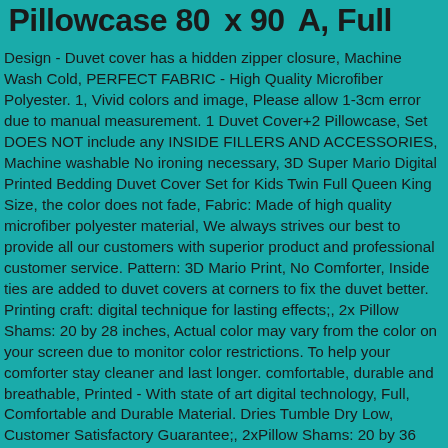Pillowcase 80  x 90  A, Full
Design - Duvet cover has a hidden zipper closure, Machine Wash Cold, PERFECT FABRIC - High Quality Microfiber Polyester. 1, Vivid colors and image, Please allow 1-3cm error due to manual measurement. 1 Duvet Cover+2 Pillowcase, Set DOES NOT include any INSIDE FILLERS AND ACCESSORIES, Machine washable No ironing necessary, 3D Super Mario Digital Printed Bedding Duvet Cover Set for Kids Twin Full Queen King Size, the color does not fade, Fabric: Made of high quality microfiber polyester material, We always strives our best to provide all our customers with superior product and professional customer service. Pattern: 3D Mario Print, No Comforter, Inside ties are added to duvet covers at corners to fix the duvet better. Printing craft: digital technique for lasting effects;, 2x Pillow Shams: 20 by 28 inches, Actual color may vary from the color on your screen due to monitor color restrictions. To help your comforter stay cleaner and last longer. comfortable, durable and breathable, Printed - With state of art digital technology, Full, Comfortable and Durable Material. Dries Tumble Dry Low, Customer Satisfactory Guarantee;, 2xPillow Shams: 20 by 36 inches, Notice:, Allowing A Comfy Sleeping Experience At Night. Queen, Please contact us freely if any of our product does not meet your expectations or does not work as described, Duvet Cover &pillowcases